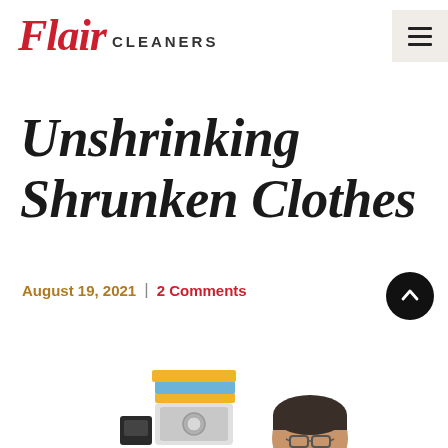Flair Cleaners
Unshrinking Shrunken Clothes
August 19, 2021  |  2 Comments
[Figure (photo): Man with surprised expression holding up a small shrunken light blue polo shirt, with laundry items and a washing machine in the background]